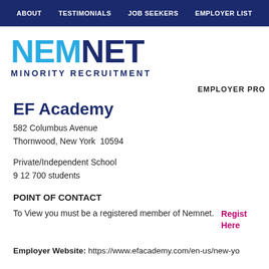ABOUT   TESTIMONIALS   JOB SEEKERS   EMPLOYER LIST
[Figure (logo): NEMNET MINORITY RECRUITMENT logo with NEM in cyan/blue and NET in dark navy, subtitle MINORITY RECRUITMENT in dark navy caps]
EMPLOYER PRO
EF Academy
582 Columbus Avenue
Thornwood, New York  10594
Private/Independent School
9 12 700 students
POINT OF CONTACT
To View you must be a registered member of Nemnet.
Register Here
Employer Website: https://www.efacademy.com/en-us/new-yo